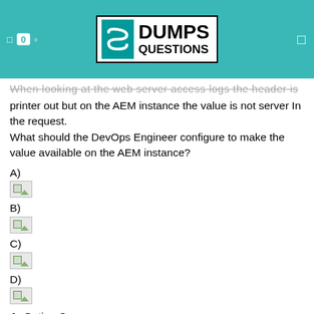DUMPS QUESTIONS
When looking at the web server access logs the header is printer out but on the AEM instance the value is not server In the request.
What should the DevOps Engineer configure to make the value available on the AEM instance?
A)
[Figure (other): Broken image placeholder for option A]
B)
[Figure (other): Broken image placeholder for option B]
C)
[Figure (other): Broken image placeholder for option C]
D)
[Figure (other): Broken image placeholder for option D]
A. Option C
B. Option B
C. Option A
D. Option D